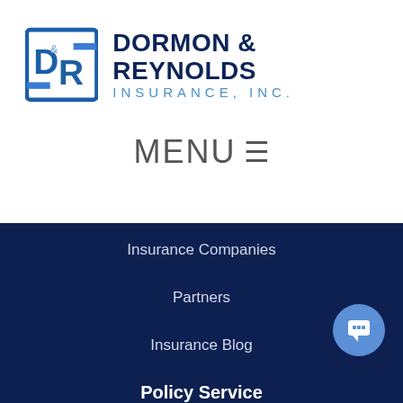[Figure (logo): Dormon & Reynolds Insurance Inc. logo with D&R monogram in blue square and company name in dark navy and light blue text]
MENU ☰
Insurance Companies
Partners
Insurance Blog
Policy Service